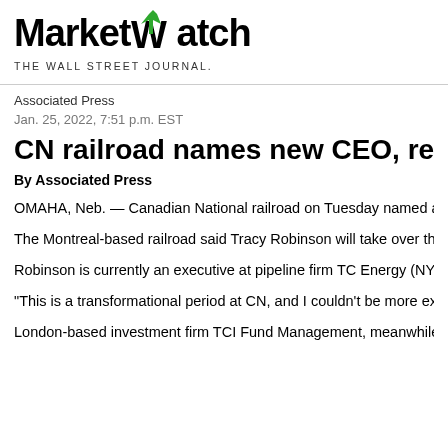[Figure (logo): MarketWatch / The Wall Street Journal logo with green arrow on W]
Associated Press
Jan. 25, 2022, 7:51 p.m. EST
CN railroad names new CEO, resolves
By Associated Press
OMAHA, Neb. — Canadian National railroad on Tuesday named a ne... pushing it to focus more on cutting costs and streamlining its operatio...
The Montreal-based railroad said Tracy Robinson will take over the to... down  after CN (NYS:CNI) failed to acquire Kansas City Southern rail...
Robinson is currently an executive at pipeline firm TC Energy (NYS:T... railroad.
“This is a transformational period at CN, and I couldn't be more excite...
London-based investment firm TCI Fund Management, meanwhile, a... the railroad agreed to work with the firm, which owns 5% of CN's sto... board. TCI had nominated four new directors.